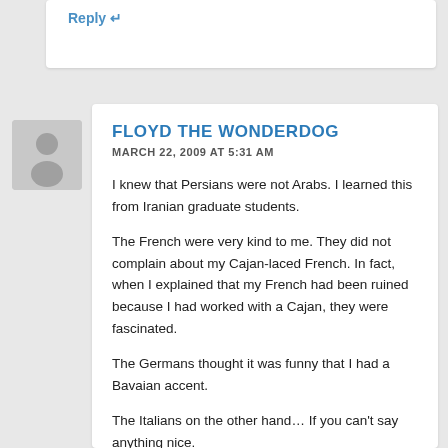Reply →
[Figure (illustration): Generic user avatar placeholder — grey silhouette figure on light grey background]
FLOYD THE WONDERDOG
MARCH 22, 2009 AT 5:31 AM
I knew that Persians were not Arabs. I learned this from Iranian graduate students.
The French were very kind to me. They did not complain about my Cajan-laced French. In fact, when I explained that my French had been ruined because I had worked with a Cajan, they were fascinated.
The Germans thought it was funny that I had a Bavaian accent.
The Italians on the other hand… If you can't say anything nice.